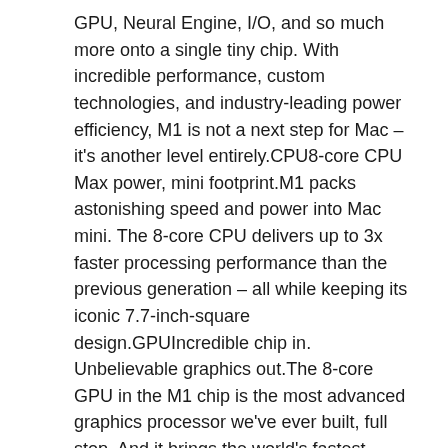GPU, Neural Engine, I/O, and so much more onto a single tiny chip. With incredible performance, custom technologies, and industry-leading power efficiency, M1 is not a next step for Mac – it's another level entirely.CPU8-core CPU Max power, mini footprint.M1 packs astonishing speed and power into Mac mini. The 8-core CPU delivers up to 3x faster processing performance than the previous generation – all while keeping its iconic 7.7-inch-square design.GPUIncredible chip in. Unbelievable graphics out.The 8-core GPU in the M1 chip is the most advanced graphics processor we've ever built, full stop. And it brings the world's fastest integrated graphics in a personal computer to Mac mini, with a gigantic 6x increase in graphics performance. That's an insane amount of power – all in an incredibly compact enclosure. 8-core BTO Mac Mini Desktop Computer – Power Cord – Apple 1 Year Limited Warranty with 90 Day Free Technical